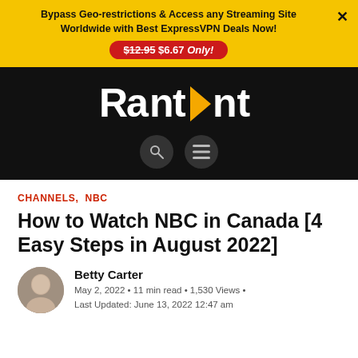Bypass Geo-restrictions & Access any Streaming Site Worldwide with Best ExpressVPN Deals Now! $12.95 $6.67 Only!
[Figure (logo): RantEnt website logo in white text on black background with an orange/yellow play button triangle replacing the 'E' in Rant]
Channels, NBC
How to Watch NBC in Canada [4 Easy Steps in August 2022]
Betty Carter
May 2, 2022 • 11 min read • 1,530 Views •
Last Updated: June 13, 2022 12:47 am